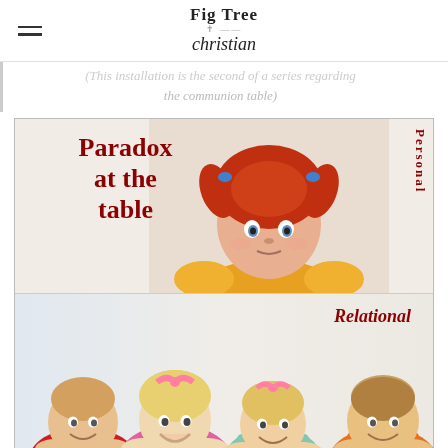Fig Tree Christian
(This installation is the second of a series regarding the communion table)
[Figure (illustration): Article header image split into two panels. Top panel: red-haired toddler girl in yellow dress with text 'Paradox at the table' in dark red bold on left and 'Personal' in dark red vertical text on right. Bottom panel: four smiling children posing with chins on hands, with 'Relational' in dark red italic text on right.]
What does it mean that the communion table is a place